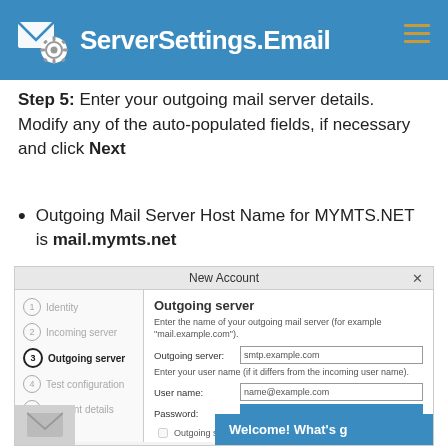ServerSettings.Email
Step 5: Enter your outgoing mail server details. Modify any of the auto-populated fields, if necessary and click Next
Outgoing Mail Server Host Name for MYMTS.NET is mail.mymts.net
[Figure (screenshot): Screenshot of a New Account dialog box showing steps: Identity, Incoming server, Outgoing server (active, step 3), Test configuration, Account details, Finish. Right panel shows Outgoing server form with fields: Outgoing server (smtp.example.com), User name (name@example.com), Password, and checkbox 'Outgoing server doesn't require a...' A blue 'Welcome! What's g' banner is partially visible at bottom right.]